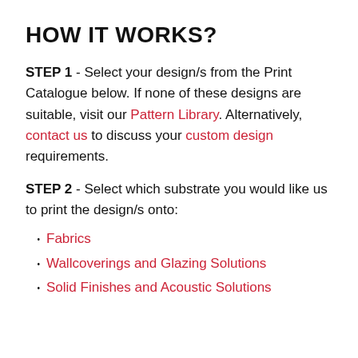HOW IT WORKS?
STEP 1 - Select your design/s from the Print Catalogue below. If none of these designs are suitable, visit our Pattern Library. Alternatively, contact us to discuss your custom design requirements.
STEP 2 - Select which substrate you would like us to print the design/s onto:
Fabrics
Wallcoverings and Glazing Solutions
Solid Finishes and Acoustic Solutions